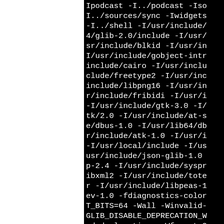[Figure (screenshot): Terminal/build output showing compiler include flags (-I paths) and compiler flags on a black background, partially visible due to page crop. Left portion of page is white (blank).]